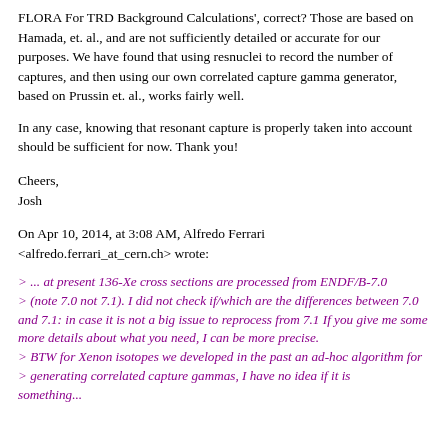FLORA For TRD Background Calculations', correct? Those are based on Hamada, et. al., and are not sufficiently detailed or accurate for our purposes. We have found that using resnuclei to record the number of captures, and then using our own correlated capture gamma generator, based on Prussin et. al., works fairly well.
In any case, knowing that resonant capture is properly taken into account should be sufficient for now. Thank you!
Cheers,
Josh
On Apr 10, 2014, at 3:08 AM, Alfredo Ferrari <alfredo.ferrari_at_cern.ch> wrote:
> ... at present 136-Xe cross sections are processed from ENDF/B-7.0
> (note 7.0 not 7.1). I did not check if/which are the differences between 7.0 and 7.1: in case it is not a big issue to reprocess from 7.1 If you give me some more details about what you need, I can be more precise.
> BTW for Xenon isotopes we developed in the past an ad-hoc algorithm for
> generating correlated capture gammas, I have no idea if it is something...